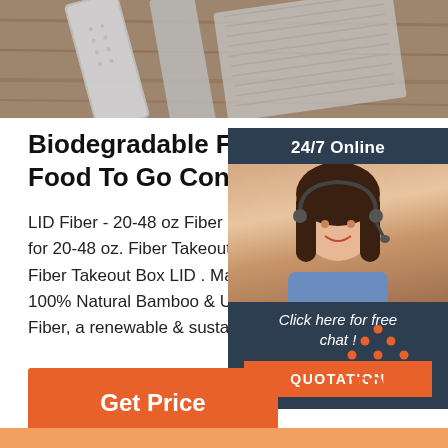[Figure (photo): Top banner image showing metallic kitchen tools/graters on a wooden surface]
Biodegradable Food Containers Food To Go Containers
LID Fiber - 20-48 oz Fiber Boxes $0.2 for 20-48 oz. Fiber Takeout Boxes. Co Fiber Takeout Box LID . Manufactured 100% Natural Bamboo & Unbleached Fiber, a renewable & sustainable reso
[Figure (infographic): 24/7 Online chat box with customer service agent photo, 'Click here for free chat!' text, and QUOTATION button]
Get Price
[Figure (logo): TOP logo with orange dots arranged in triangle above the word TOP]